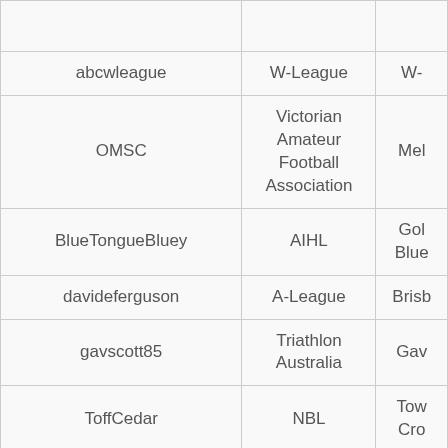| Username | League | Team |
| --- | --- | --- |
| abcwleague | W-League | W-… |
| OMSC | Victorian Amateur Football Association | Mel… |
| BlueTongueBluey | AIHL | Gol… Blue… |
| davideferguson | A-League | Brisb… |
| gavscott85 | Triathlon Australia | Gav… |
| ToffCedar | NBL | Tow… Cro… |
| jreynojreyno | AFL | Es… Bo… |
| TheRoarDeal | A-League | Brisb… |
| cameronwhiting | NBL | Tow… |